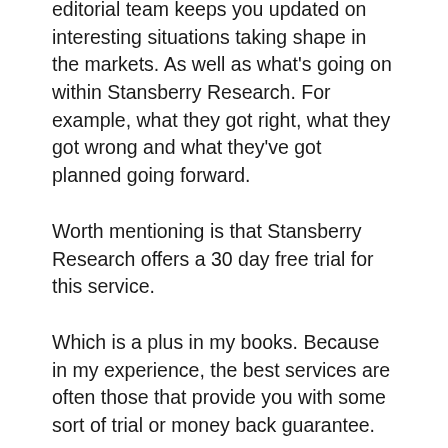editorial team keeps you updated on interesting situations taking shape in the markets. As well as what's going on within Stansberry Research. For example, what they got right, what they got wrong and what they've got planned going forward.
Worth mentioning is that Stansberry Research offers a 30 day free trial for this service.
Which is a plus in my books. Because in my experience, the best services are often those that provide you with some sort of trial or money back guarantee.
In any case, when you boil it all down, there are two main core benefits of this service.